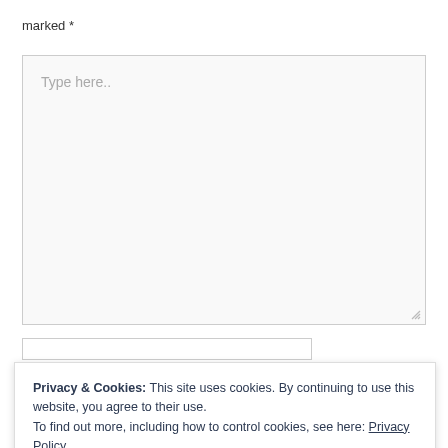marked *
[Figure (screenshot): A large empty textarea input box with placeholder text 'Type here..' and a resize handle in the bottom-right corner]
Privacy & Cookies: This site uses cookies. By continuing to use this website, you agree to their use.
To find out more, including how to control cookies, see here: Privacy Policy
Close and accept